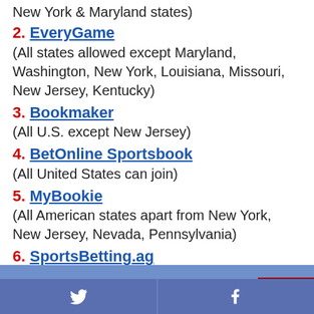New York & Maryland states)
2. EveryGame
(All states allowed except Maryland, Washington, New York, Louisiana, Missouri, New Jersey, Kentucky)
3. Bookmaker
(All U.S. except New Jersey)
4. BetOnline Sportsbook
(All United States can join)
5. MyBookie
(All American states apart from New York, New Jersey, Nevada, Pennsylvania)
6. SportsBetting.ag
(All Americans welcome)
Latest Betting Previews
Twitter | Facebook